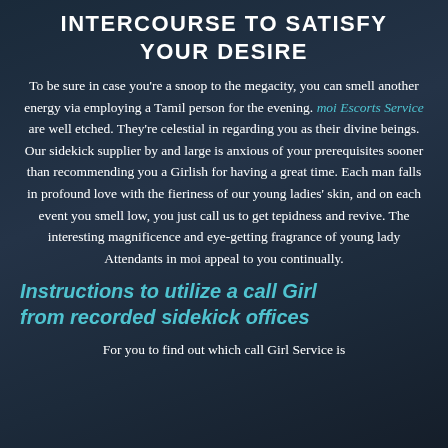INTERCOURSE TO SATISFY YOUR DESIRE
To be sure in case you're a snoop to the megacity, you can smell another energy via employing a Tamil person for the evening. moi Escorts Service are well etched. They're celestial in regarding you as their divine beings. Our sidekick supplier by and large is anxious of your prerequisites sooner than recommending you a Girlish for having a great time. Each man falls in profound love with the fieriness of our young ladies' skin, and on each event you smell low, you just call us to get tepidness and revive. The interesting magnificence and eye-getting fragrance of young lady Attendants in moi appeal to you continually.
Instructions to utilize a call Girl from recorded sidekick offices
For you to find out which call Girl Service is